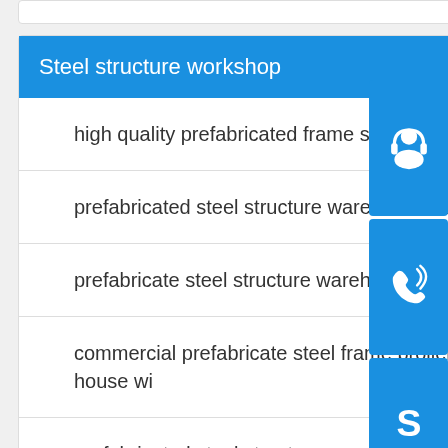Steel structure workshop
high quality prefabricated frame steel structure b
prefabricated steel structure warehouse as of
prefabricate steel structure warehouse ssw 74
commercial prefabricate steel frame broiler chic house wi
prefabricated steel structure warehouse in
china low cost prefab houses made in china pre fabricated buildings